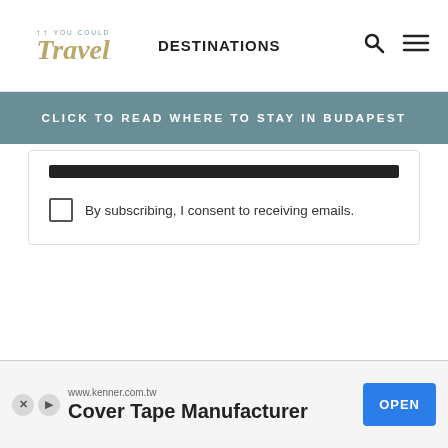You Could Travel — DESTINATIONS
CLICK TO READ WHERE TO STAY IN BUDAPEST
By subscribing, I consent to receiving emails.
www.kenner.com.tw Cover Tape Manufacturer OPEN